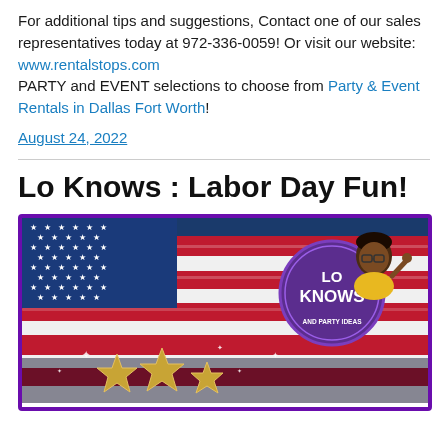For additional tips and suggestions, Contact one of our sales representatives today at 972-336-0059! Or visit our website: www.rentalstops.com PARTY and EVENT selections to choose from Party & Event Rentals in Dallas Fort Worth!
August 24, 2022
Lo Knows : Labor Day Fun!
[Figure (illustration): Illustrated promotional banner showing an American flag waving with red, white and blue stripes and white stars on blue field, with golden stars at the bottom, and a purple circular badge reading 'LO KNOWS - QUICK, EASY TIPS AND PARTY IDEAS' with a cartoon illustration of a Black woman with glasses wearing a yellow top.]